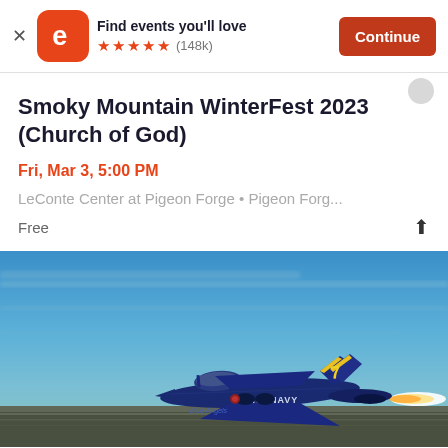Find events you'll love ★★★★★ (148k) Continue
Smoky Mountain WinterFest 2023 (Church of God)
Fri, Mar 3, 5:00 PM
LeConte Center at Pigeon Forge • Pigeon Forg...
Free
[Figure (photo): Blue Angels U.S. Navy F/A-18 jet aircraft number 7 in flight low to the ground with afterburner flame, against a blue sky background]